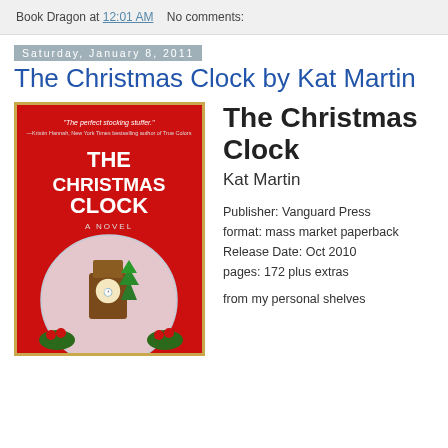Book Dragon at 12:01 AM   No comments:
Saturday, January 8, 2011
The Christmas Clock by Kat Martin
[Figure (photo): Book cover of 'The Christmas Clock' by Kat Martin — red background with a snow globe containing a grandfather clock, with text 'The perfect stocking stuffer.' — Kristin Hannah, New York Times bestselling author of True Colors]
The Christmas Clock
Kat Martin

Publisher: Vanguard Press
format: mass market paperback
Release Date: Oct 2010
pages: 172 plus extras

from my personal shelves